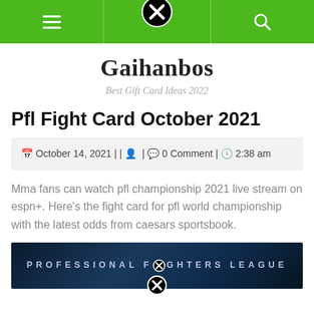Navigation bar with hamburger menu, close button, and search icon
Gaihanbos
Best Gift Card Ideas 2022
Pfl Fight Card October 2021
October 14, 2021 | | 0 Comment | 2:38 am
Mma fans can watch pfl championship 2021 live stream on espn+. Here's the fight card for pfl world championship with the latest odds from caesars sportsbook.
[Figure (photo): Professional Fighters League banner image with dark blue background and white text spelling PROFESSIONAL FIGHTERS LEAGUE]